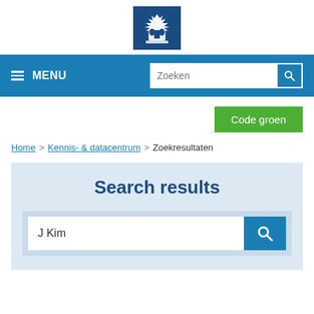[Figure (logo): Dutch government coat of arms (white on dark blue background) — Rijksoverheid logo]
≡ MENU | Zoeken [search bar]
Code groen
Home > Kennis- & datacentrum > Zoekresultaten
Search results
J Kim [search input]